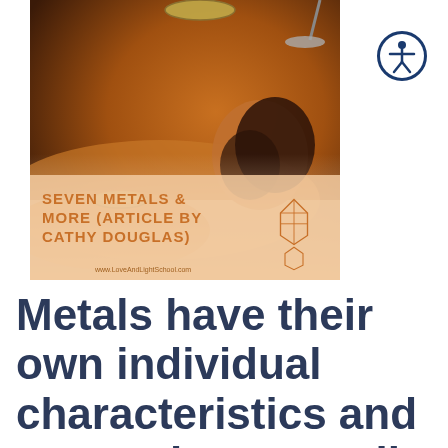[Figure (photo): A woman lying down receiving a sound bowl therapy or massage treatment, with singing bowls placed around her. Warm amber/orange tones. Text overlay at bottom reads 'SEVEN METALS & MORE (ARTICLE BY CATHY DOUGLAS)' with a crystal gem logo and url www.LoveAndLightSchool.com]
[Figure (logo): Accessibility icon: white figure in a circle with dark blue border, person with arms outstretched]
Metals have their own individual characteristics and properties, as well as a touch of alchemy